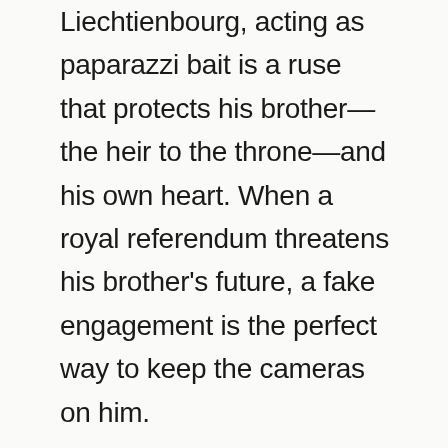Liechtienbourg, acting as paparazzi bait is a ruse that protects his brother—the heir to the throne—and his own heart. When a royal referendum threatens his brother's future, a fake engagement is the perfect way to keep the cameras on him.
Nya and Johan both have good reasons to avoid love, but as desires are laid bare behind